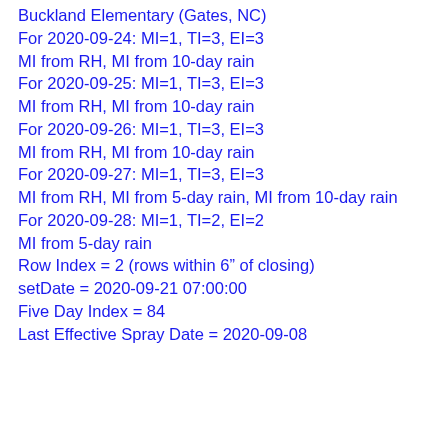Buckland Elementary (Gates, NC)
For 2020-09-24: MI=1, TI=3, EI=3
MI from RH, MI from 10-day rain
For 2020-09-25: MI=1, TI=3, EI=3
MI from RH, MI from 10-day rain
For 2020-09-26: MI=1, TI=3, EI=3
MI from RH, MI from 10-day rain
For 2020-09-27: MI=1, TI=3, EI=3
MI from RH, MI from 5-day rain, MI from 10-day rain
For 2020-09-28: MI=1, TI=2, EI=2
MI from 5-day rain
Row Index = 2 (rows within 6” of closing)
setDate = 2020-09-21 07:00:00
Five Day Index = 84
Last Effective Spray Date = 2020-09-08